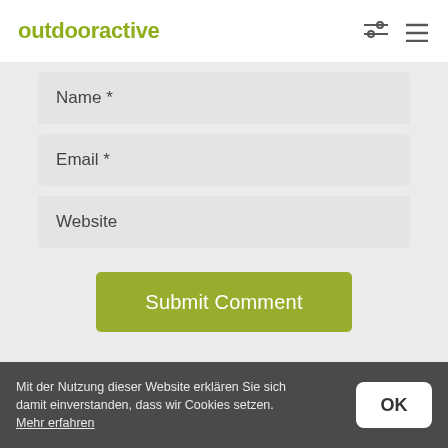outdooractive
Name *
Email *
Website
Submit Comment
Mit der Nutzung dieser Website erklären Sie sich damit einverstanden, dass wir Cookies setzen. Mehr erfahren